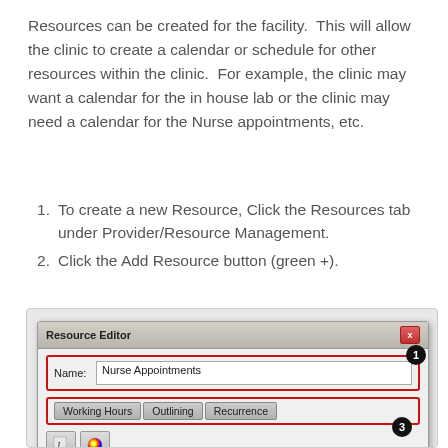Resources can be created for the facility.  This will allow the clinic to create a calendar or schedule for other resources within the clinic.  For example, the clinic may want a calendar for the in house lab or the clinic may need a calendar for the Nurse appointments, etc.
To create a new Resource, Click the Resources tab under Provider/Resource Management.
Click the Add Resource button (green +).
[Figure (screenshot): Resource Editor dialog window showing: Name field containing 'Nurse Appointments' highlighted with red border and badge '1', tabs Working Hours, Outlining, Recurrence highlighted with red border and badge '3', toolbar with font and color buttons, and a schedule table with columns Day, Start Time, End Time, Available.]